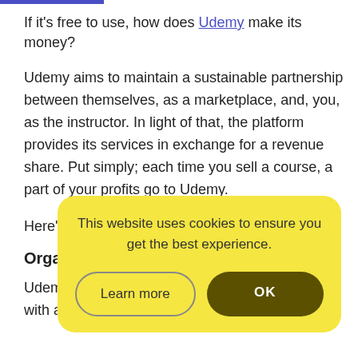If it's free to use, how does Udemy make its money?
Udemy aims to maintain a sustainable partnership between themselves, as a marketplace, and, you, as the instructor. In light of that, the platform provides its services in exchange for a revenue share. Put simply; each time you sell a course, a part of your profits go to Udemy.
Here'
Orga
Udem… e not signed up with any of its promotional programs. So